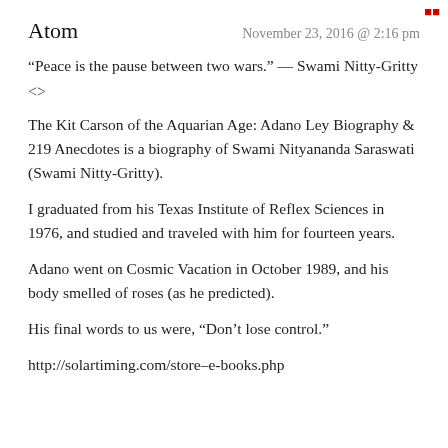Atom    November 23, 2016 @ 2:16 pm
“Peace is the pause between two wars.” — Swami Nitty-Gritty
<>
The Kit Carson of the Aquarian Age: Adano Ley Biography & 219 Anecdotes is a biography of Swami Nityananda Saraswati (Swami Nitty-Gritty).
I graduated from his Texas Institute of Reflex Sciences in 1976, and studied and traveled with him for fourteen years.
Adano went on Cosmic Vacation in October 1989, and his body smelled of roses (as he predicted).
His final words to us were, “Don’t lose control.”
http://solartiming.com/store–e-books.php